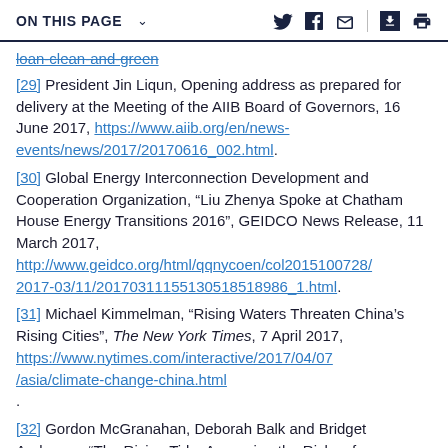ON THIS PAGE
[29] President Jin Liqun, Opening address as prepared for delivery at the Meeting of the AIIB Board of Governors, 16 June 2017, https://www.aiib.org/en/news-events/news/2017/20170616_002.html.
[30] Global Energy Interconnection Development and Cooperation Organization, “Liu Zhenya Spoke at Chatham House Energy Transitions 2016”, GEIDCO News Release, 11 March 2017, http://www.geidco.org/html/qqnycoen/col2015100728/2017-03/11/20170311155130518518986_1.html.
[31] Michael Kimmelman, “Rising Waters Threaten China’s Rising Cities”, The New York Times, 7 April 2017, https://www.nytimes.com/interactive/2017/04/07/asia/climate-change-china.html.
[32] Gordon McGranahan, Deborah Balk and Bridget Anderson, “The Rising Tide: Assessing the Risks of